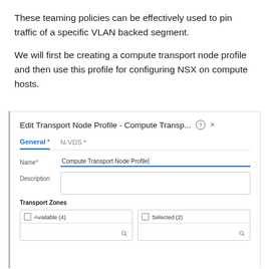These teaming policies can be effectively used to pin traffic of a specific VLAN backed segment.
We will first be creating a compute transport node profile and then use this profile for configuring NSX on compute hosts.
[Figure (screenshot): Screenshot of 'Edit Transport Node Profile - Compute Transp...' dialog box showing General and N-VDS tabs, Name field with 'Compute Transport Node Profile', Description textarea, Transport Zones section with Available (4) and Selected (2) boxes each with a search field.]